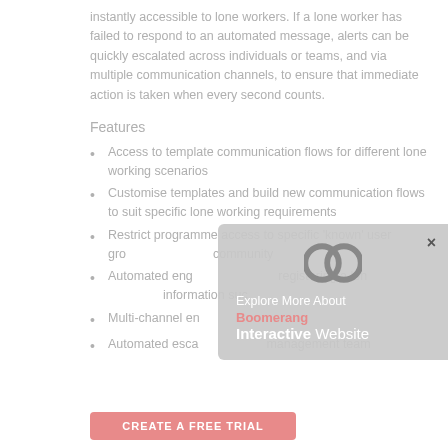instantly accessible to lone workers. If a lone worker has failed to respond to an automated message, alerts can be quickly escalated across individuals or teams, and via multiple communication channels, to ensure that immediate action is taken when every second counts.
Features
Access to template communication flows for different lone working scenarios
Customise templates and build new communication flows to suit specific lone working requirements
Restrict programme access to specific 'known' user groups within your community
Automated engagement when registering a lone worker, capturing information such...
Multi-channel en...
Automated escalation... management team
[Figure (other): Popup overlay showing Boomerang Interactive Website branding with a circular logo and close button]